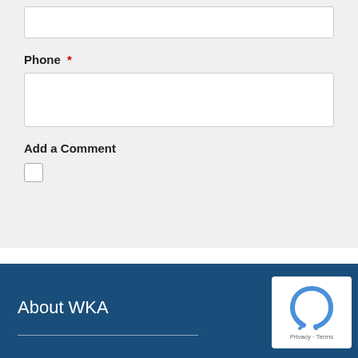Phone *
Add a Comment
Submit
About WKA